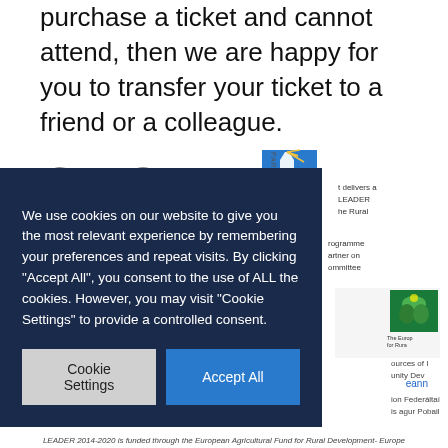purchase a ticket and cannot attend, then we are happy for you to transfer your ticket to a friend or a colleague.
[Figure (logo): SECAD partner logo with lighthouse icon]
We use cookies on our website to give you the most relevant experience by remembering your preferences and repeat visits. By clicking "Accept All", you consent to the use of ALL the cookies. However, you may visit "Cookie Settings" to provide a controlled consent.
Cookie Settings
Accept All
LEADER 2014-2020 is funded through the European Agricultural Fund for Rural Development- Europe